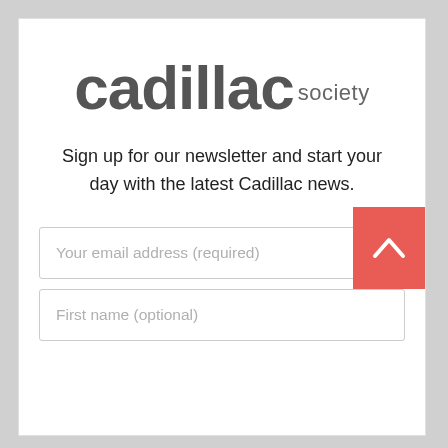[Figure (logo): Cadillac Society logo: large grey lowercase 'cadillac' text with smaller 'society' text to the right]
Sign up for our newsletter and start your day with the latest Cadillac news.
Your email address (required)
First name (optional)